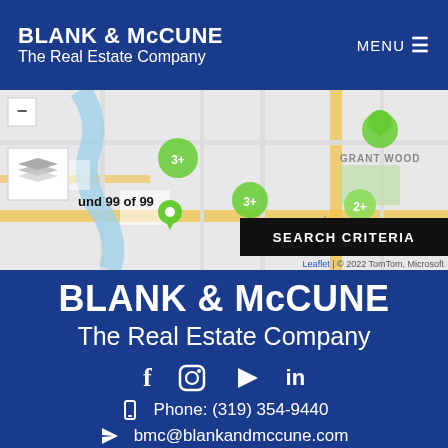BLANK & McCUNE The Real Estate Company
[Figure (map): Interactive street map showing property listings as green circle markers with cluster numbers (3+, 3+, 2+) and pin markers. Text 'und 99 of 99' visible bottom left indicating 99 results. 'GRANT WOOD' area label visible. 'S. Gilbert' street label. 'SEARCH CRITERIA' button overlay. Map attribution: Leaflet | © 2022 TomTom, Microsoft]
BLANK & McCUNE The Real Estate Company
f  Instagram  YouTube  in
Phone: (319) 354-9440
bmc@blankandmccune.com